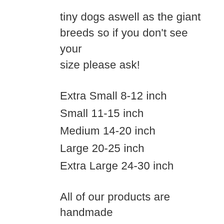tiny dogs aswell as the giant breeds so if you don't see your size please ask!
Extra Small 8-12 inch
Small 11-15 inch
Medium 14-20 inch
Large 20-25 inch
Extra Large 24-30 inch
All of our products are handmade on our small holding in the beautiful county of Cornwall and are part of the "Made In Cornwall" scheme which is strictly regulate by trading standards, this gives you piece of mind that you have a unique "Genuine" Cornish product that is well made!